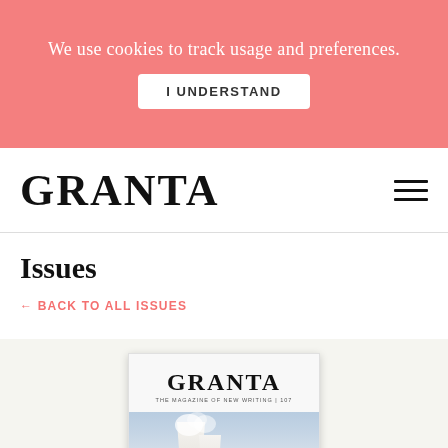We use cookies to track usage and preferences.
I UNDERSTAND
GRANTA
Issues
← BACK TO ALL ISSUES
[Figure (photo): Granta magazine cover featuring a nuclear cooling tower emitting steam, with trees in the foreground and the GRANTA logo at the top]